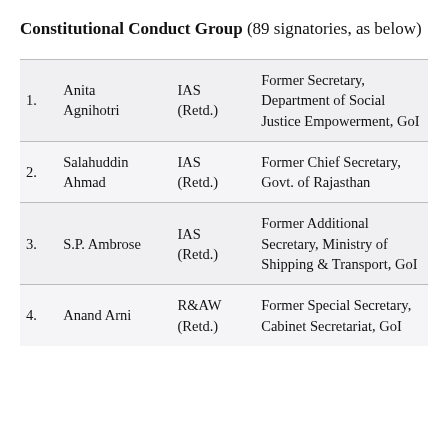Constitutional Conduct Group (89 signatories, as below)
| # | Name | Service | Description |
| --- | --- | --- | --- |
| 1. | Anita Agnihotri | IAS (Retd.) | Former Secretary, Department of Social Justice Empowerment, GoI |
| 2. | Salahuddin Ahmad | IAS (Retd.) | Former Chief Secretary, Govt. of Rajasthan |
| 3. | S.P. Ambrose | IAS (Retd.) | Former Additional Secretary, Ministry of Shipping & Transport, GoI |
| 4. | Anand Arni | R&AW (Retd.) | Former Special Secretary, Cabinet Secretariat, GoI |